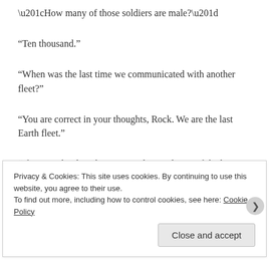“How many of those soldiers are male?”
“Ten thousand.”
“When was the last time we communicated with another fleet?”
“You are correct in your thoughts, Rock. We are the last Earth fleet.”
“If I am right, then the entire male population of the human race is on these ships…”
“Not quite, but the only men left on earth are in
Privacy & Cookies: This site uses cookies. By continuing to use this website, you agree to their use.
To find out more, including how to control cookies, see here: Cookie Policy
Close and accept